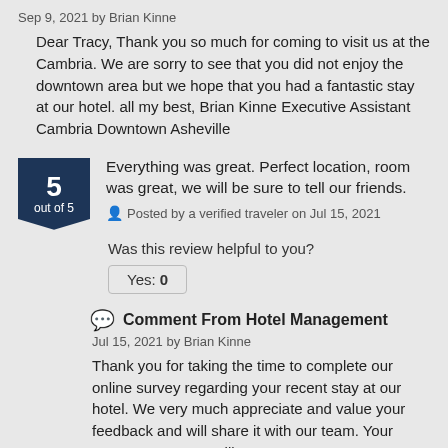Sep 9, 2021 by Brian Kinne
Dear Tracy, Thank you so much for coming to visit us at the Cambria. We are sorry to see that you did not enjoy the downtown area but we hope that you had a fantastic stay at our hotel. all my best, Brian Kinne Executive Assistant Cambria Downtown Asheville
Everything was great. Perfect location, room was great, we will be sure to tell our friends.
Posted by a verified traveler on Jul 15, 2021
Was this review helpful to you?
Yes: 0
Comment From Hotel Management
Jul 15, 2021 by Brian Kinne
Thank you for taking the time to complete our online survey regarding your recent stay at our hotel. We very much appreciate and value your feedback and will share it with our team. Your survey responses will serve as encouragement to all of our staff as we strive to